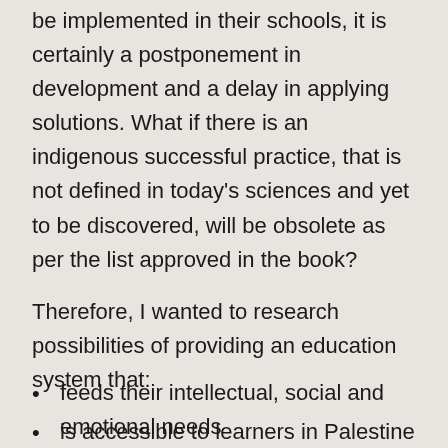be implemented in their schools, it is certainly a postponement in development and a delay in applying solutions. What if there is an indigenous successful practice, that is not defined in today's sciences and yet to be discovered, will be obsolete as per the list approved in the book?
Therefore, I wanted to research possibilities of providing an education system that:
is accessible to learners in Palestine
is served by global educators
meets international standards
prepares the learners to join international universities and institutes
feeds their intellectual, social and emotional needs